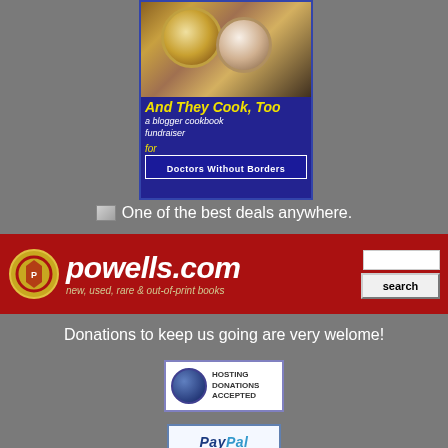[Figure (illustration): Book cover for 'And They Cook, Too - a blogger cookbook fundraiser for Doctors Without Borders'. Dark blue background with cupcake/food photo at top.]
One of the best deals anywhere.
[Figure (logo): Powells.com banner ad on red background. Logo shows circular icon, large italic text 'powells.com', tagline 'new, used, rare & out-of-print books', and a search box with search button.]
Donations to keep us going are very welome!
[Figure (logo): Hosting Donations Accepted badge with circular icon and text]
[Figure (logo): PayPal Donate button badge]